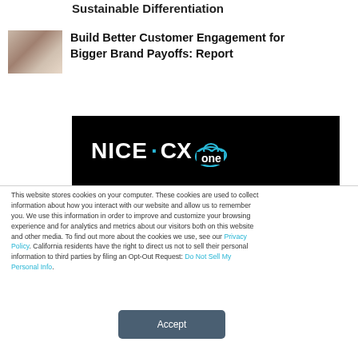Sustainable Differentiation
[Figure (photo): Small thumbnail photo of a woman looking at a smartphone]
Build Better Customer Engagement for Bigger Brand Payoffs: Report
[Figure (logo): NICE CXone logo on black background]
This website stores cookies on your computer. These cookies are used to collect information about how you interact with our website and allow us to remember you. We use this information in order to improve and customize your browsing experience and for analytics and metrics about our visitors both on this website and other media. To find out more about the cookies we use, see our Privacy Policy. California residents have the right to direct us not to sell their personal information to third parties by filing an Opt-Out Request: Do Not Sell My Personal Info.